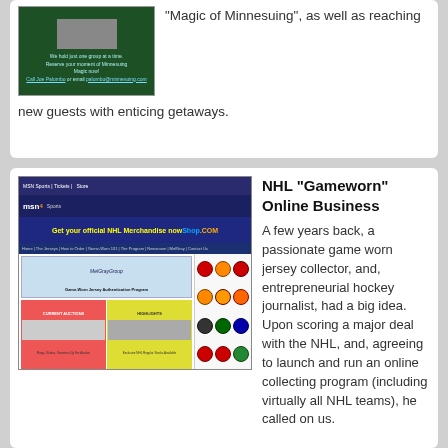[Figure (screenshot): Screenshot of a resort website with green background, showing a photo and booking information for Minnesuing resort]
“Magic of Minnesuing”, as well as reaching new guests with enticing getaways.
[Figure (screenshot): Screenshot of NHL Gameworn jersey authentication program website on MSN Sports, showing the MelGrayGroup Game-Worn Jersey Authentication Program page with team logos]
NHL “Gameworn” Online Business
A few years back, a passionate game worn jersey collector, and, entrepreneurial hockey journalist, had a big idea. Upon scoring a major deal with the NHL, and, agreeing to launch and run an online collecting program (including virtually all NHL teams), he called on us.